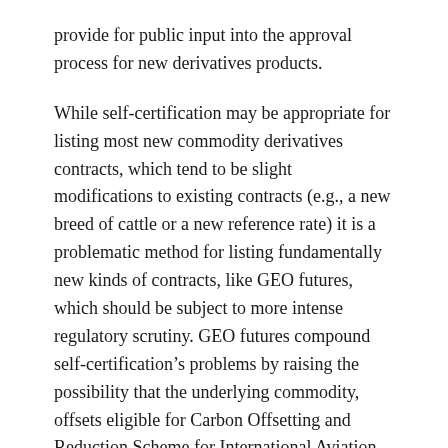provide for public input into the approval process for new derivatives products.
While self-certification may be appropriate for listing most new commodity derivatives contracts, which tend to be slight modifications to existing contracts (e.g., a new breed of cattle or a new reference rate) it is a problematic method for listing fundamentally new kinds of contracts, like GEO futures, which should be subject to more intense regulatory scrutiny. GEO futures compound self-certification’s problems by raising the possibility that the underlying commodity, offsets eligible for Carbon Offsetting and Reduction Scheme for International Aviation (“CORSIA”), may provide the appearance of emissions reductions without actually reducing emissions, or by reducing emissions less than the stated amount. This stands in